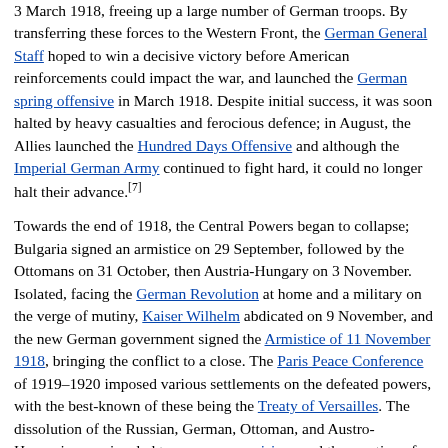3 March 1918, freeing up a large number of German troops. By transferring these forces to the Western Front, the German General Staff hoped to win a decisive victory before American reinforcements could impact the war, and launched the German spring offensive in March 1918. Despite initial success, it was soon halted by heavy casualties and ferocious defence; in August, the Allies launched the Hundred Days Offensive and although the Imperial German Army continued to fight hard, it could no longer halt their advance.[7]
Towards the end of 1918, the Central Powers began to collapse; Bulgaria signed an armistice on 29 September, followed by the Ottomans on 31 October, then Austria-Hungary on 3 November. Isolated, facing the German Revolution at home and a military on the verge of mutiny, Kaiser Wilhelm abdicated on 9 November, and the new German government signed the Armistice of 11 November 1918, bringing the conflict to a close. The Paris Peace Conference of 1919–1920 imposed various settlements on the defeated powers, with the best-known of these being the Treaty of Versailles. The dissolution of the Russian, German, Ottoman, and Austro-Hungarian empires led to numerous uprisings and the creation of independent states, including Poland, Czechoslovakia, and Yugoslavia. For reasons that are still debated, failure to manage the instability that resulted from this upheaval during the interwar period ended with the outbreak of World War II in